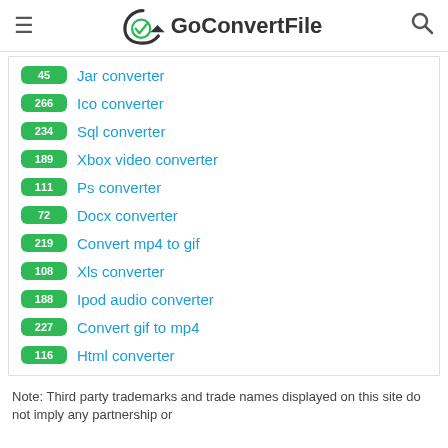GoConvertFile
45 Jar converter
266 Ico converter
234 Sql converter
189 Xbox video converter
111 Ps converter
72 Docx converter
219 Convert mp4 to gif
108 Xls converter
188 Ipod audio converter
227 Convert gif to mp4
116 Html converter
Note: Third party trademarks and trade names displayed on this site do not imply any partnership or